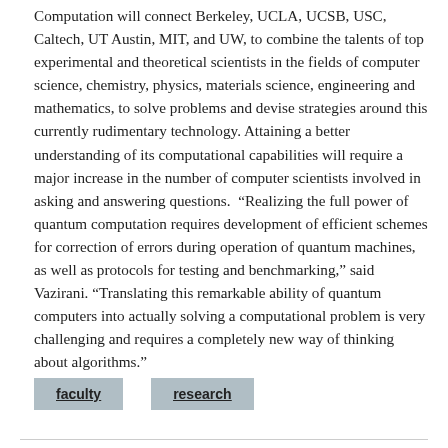Computation will connect Berkeley, UCLA, UCSB, USC, Caltech, UT Austin, MIT, and UW, to combine the talents of top experimental and theoretical scientists in the fields of computer science, chemistry, physics, materials science, engineering and mathematics, to solve problems and devise strategies around this currently rudimentary technology. Attaining a better understanding of its computational capabilities will require a major increase in the number of computer scientists involved in asking and answering questions.  “Realizing the full power of quantum computation requires development of efficient schemes for correction of errors during operation of quantum machines, as well as protocols for testing and benchmarking,” said Vazirani. “Translating this remarkable ability of quantum computers into actually solving a computational problem is very challenging and requires a completely new way of thinking about algorithms.”
faculty
research